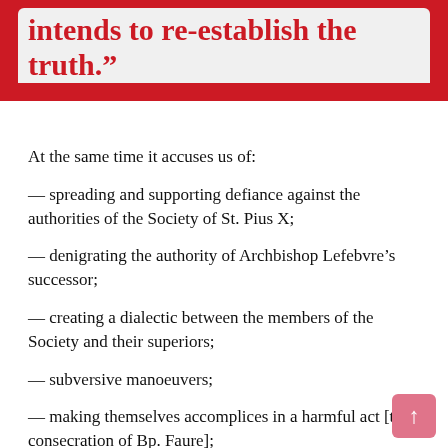intends to re-establish the truth.”
At the same time it accuses us of:
— spreading and supporting defiance against the authorities of the Society of St. Pius X;
— denigrating the authority of Archbishop Lefebvre’s successor;
— creating a dialectic between the members of the Society and their superiors;
— subversive manoeuvers;
— making themselves accomplices in a harmful act [the consecration of Bp. Faure];
— doing serious damage to the common good of Tradition;